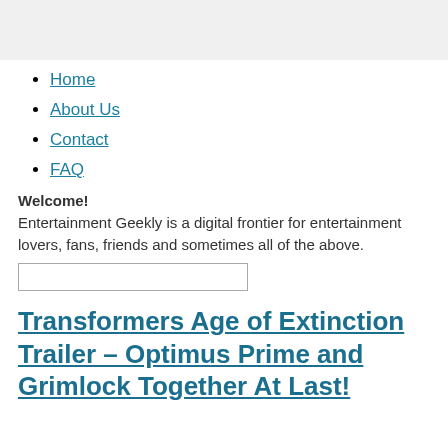Home
About Us
Contact
FAQ
Welcome!
Entertainment Geekly is a digital frontier for entertainment lovers, fans, friends and sometimes all of the above.
Transformers Age of Extinction Trailer – Optimus Prime and Grimlock Together At Last!